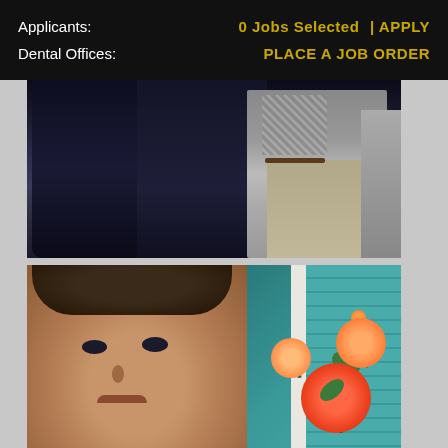Applicants: | 0 Jobs Selected | APPLY
Dental Offices: | PLACE A JOB ORDER
[Figure (photo): Photo of people standing in an office setting, two figures in dark clothing on the left and center, one person in a checkered shirt and khaki pants on the right, with filing cabinet visible]
[Figure (photo): Selfie photo of a person with tousled dark hair against teal house siding, with orange and red roses visible in the lower right]